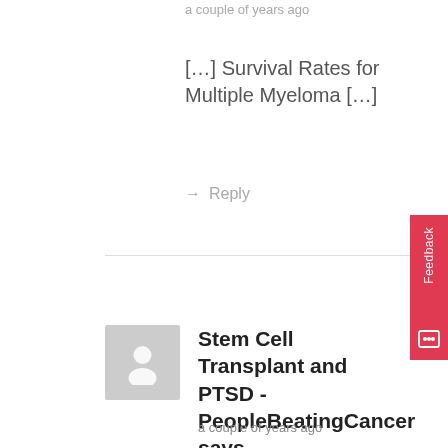a couple of years ago
[…] Survival Rates for Multiple Myeloma […]
→ Reply
[Figure (illustration): Gray placeholder avatar icon with silhouette of a person]
Stem Cell Transplant and PTSD - PeopleBeatingCancer says
a couple of years ago